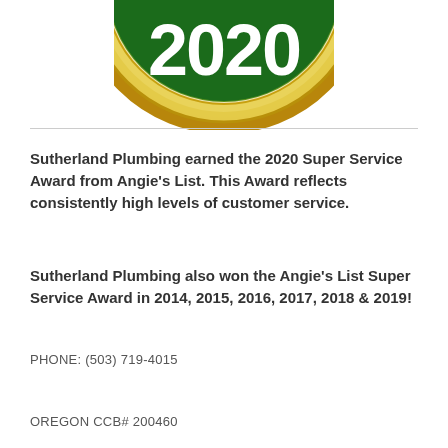[Figure (logo): Angie's List 2020 Super Service Award badge — circular gold and green seal with '2020' in large white text on a dark green background, surrounded by a gold ring]
Sutherland Plumbing earned the 2020 Super Service Award from Angie's List. This Award reflects consistently high levels of customer service.
Sutherland Plumbing also won the Angie's List Super Service Award in 2014, 2015, 2016, 2017, 2018 & 2019!
PHONE: (503) 719-4015
OREGON CCB# 200460